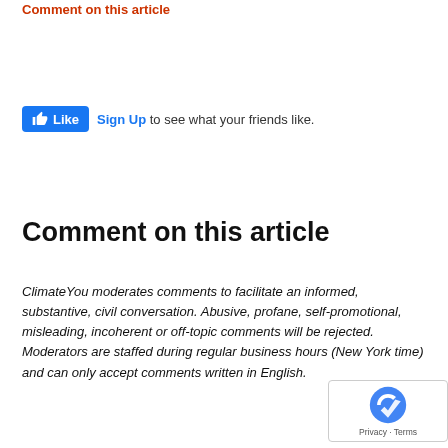Comment on this article
[Figure (screenshot): Facebook Like button widget with 'Like' button in blue and 'Sign Up to see what your friends like.' text]
Comment on this article
ClimateYou moderates comments to facilitate an informed, substantive, civil conversation. Abusive, profane, self-promotional, misleading, incoherent or off-topic comments will be rejected. Moderators are staffed during regular business hours (New York time) and can only accept comments written in English.
[Figure (logo): Google reCAPTCHA badge with Privacy and Terms links]